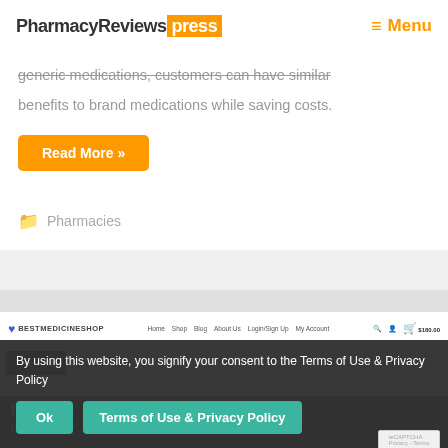PharmacyReviews press  ≡ Menu
generic medications, customers can have similar benefits to brand medications while saving costs.
Read More »
📁 Pharmacies
[Figure (screenshot): Screenshot of BestMedicineShop website header with navigation and search bar]
By using this website, you signify your consent to the Terms of Use & Privacy Policy
Ok   Terms of Use & Privacy Policy